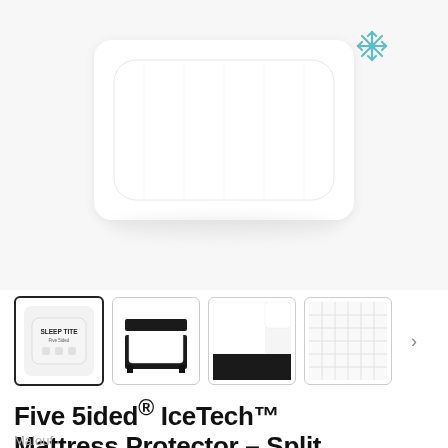[Figure (photo): Close-up of a white mattress protector product with rounded corners and a blue snowflake icon, shown on a light gray background with a reflection below]
[Figure (photo): Four product thumbnail images: (1) Sleep Tite branded packaging, (2) bed frame with mattress protector angled view, (3) corner detail of white mattress protector on dark bed frame, (4) close-up of quilted white fabric texture]
Five 5ided® IceTech™ Mattress Protector - Split Cal King
Malouf